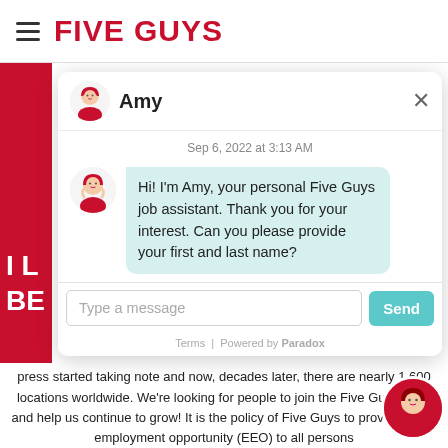FIVE GUYS
[Figure (screenshot): Five Guys website chatbot widget featuring an AI assistant named Amy. Chat shows timestamp 'Sep 6, 2022 at 3:13 AM' and message: 'Hi! I'm Amy, your personal Five Guys job assistant. Thank you for your interest. Can you please provide your first and last name?' with text input field and Send button. Footer shows 'Terms | Powered by Paradox']
press started taking note and now, decades later, there are nearly 1,600 locations worldwide. We're looking for people to join the Five Guys team and help us continue to grow! It is the policy of Five Guys to provide equal employment opportunity (EEO) to all persons